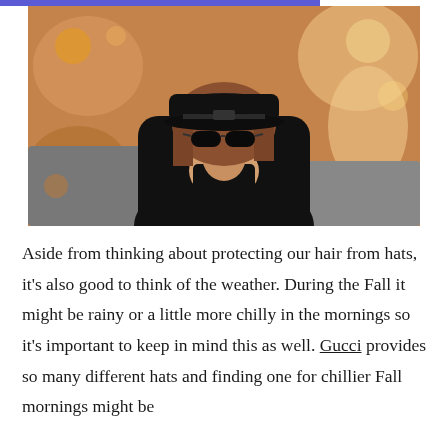[Figure (photo): A woman dressed in black wearing a black baker boy cap and large dark sunglasses, pulling up a black fur coat collar near a car, with a warm bokeh background of shop windows.]
Aside from thinking about protecting our hair from hats, it's also good to think of the weather. During the Fall it might be rainy or a little more chilly in the mornings so it's important to keep in mind this as well. Gucci provides so many different hats and finding one for chillier Fall mornings might be